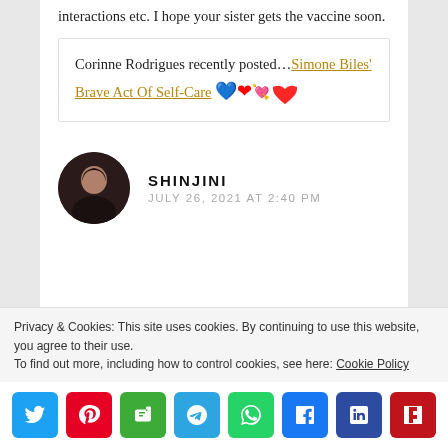interactions etc. I hope your sister gets the vaccine soon.
Corinne Rodrigues recently posted…Simone Biles' Brave Act Of Self-Care [heart icon]
SHINJINI
JULY 26, 2021 AT 2:40 PM
Privacy & Cookies: This site uses cookies. By continuing to use this website, you agree to their use.
To find out more, including how to control cookies, see here: Cookie Policy
Social share buttons: Twitter, Pinterest, Evernote, Telegram, WhatsApp, Facebook, LinkedIn, Flipboard